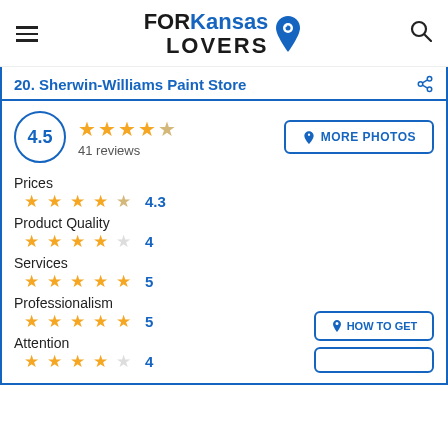FOR Kansas LOVERS
20. Sherwin-Williams Paint Store
4.5 — 41 reviews
Prices 4.3
Product Quality 4
Services 5
Professionalism 5
Attention 4